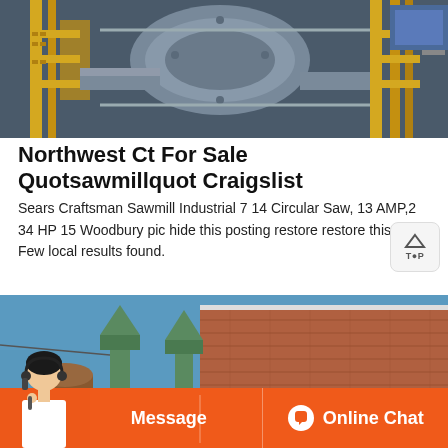[Figure (photo): Industrial machinery photo showing large equipment with yellow scaffolding/railings, metal pipes and cylindrical components in a factory or industrial setting.]
Northwest Ct For Sale Quotsawmillquot Craigslist
Sears Craftsman Sawmill Industrial 7 14 Circular Saw, 13 AMP,2 34 HP 15 Woodbury pic hide this posting restore restore this post Few local results found.
[Figure (photo): Outdoor industrial facility with green machinery/equipment, brick building in background, blue sky. A Message and Online Chat bar overlay the bottom of the image with a customer service representative photo on the left.]